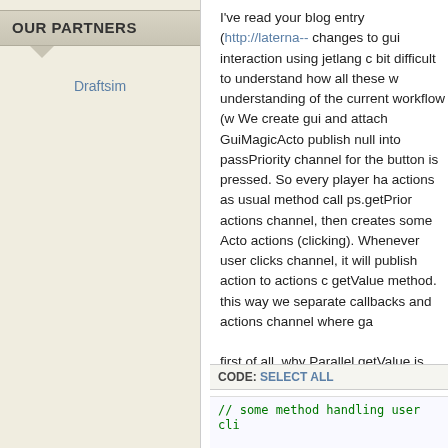OUR PARTNERS
Draftsim
I've read your blog entry (http://laterna-- changes to gui interaction using jetlang c bit difficult to understand how all these w understanding of the current workflow (w We create gui and attach GuiMagicActor publish null into passPriority channel for the button is pressed. So every player ha actions as usual method call ps.getPrior actions channel, then creates some Acto actions (clicking). Whenever user clicks channel, it will publish action to actions c getValue method. this way we separate  callbacks and actions channel where ga
first of all, why Parallel getValue is synch istance is created on every call? and wh Disposable.onMessage subscribed on fi
The second question is about Net actor: I had working verstion for your previous putAction), but now I'm in stuck a little. T State pattern, there was a code like (abs
CODE: SELECT ALL
// some method handling user cli